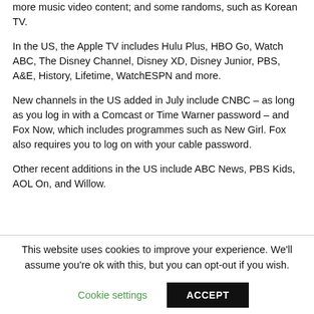more music video content; and some randoms, such as Korean TV.
In the US, the Apple TV includes Hulu Plus, HBO Go, Watch ABC, The Disney Channel, Disney XD, Disney Junior, PBS, A&E, History, Lifetime, WatchESPN and more.
New channels in the US added in July include CNBC – as long as you log in with a Comcast or Time Warner password – and Fox Now, which includes programmes such as New Girl. Fox also requires you to log on with your cable password.
Other recent additions in the US include ABC News, PBS Kids, AOL On, and Willow.
This website uses cookies to improve your experience. We'll assume you're ok with this, but you can opt-out if you wish.
Cookie settings
ACCEPT